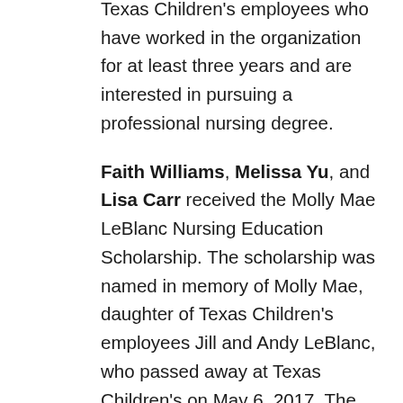provide tuition assistance for Texas Children's employees who have worked in the organization for at least three years and are interested in pursuing a professional nursing degree.
Faith Williams, Melissa Yu, and Lisa Carr received the Molly Mae LeBlanc Nursing Education Scholarship. The scholarship was named in memory of Molly Mae, daughter of Texas Children's employees Jill and Andy LeBlanc, who passed away at Texas Children's on May 6, 2017. The purpose of the scholarship is to perpetuate Molly Mae's memory and recognize nursing staff members for going above and beyond their required job duties to enhance the quality of life for Texas Children's patients and their families.